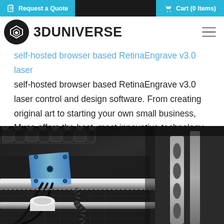Request a Quote | Cart (0 Items)
3DUNIVERSE
self-hosted browser based RetinaEngrave v3.0 laser control and design software. From creating original art to starting your own small business, Muse offers the best, most innovative technology in the desktop laser market.
[Figure (photo): Close-up photograph of laser engraver internal mechanical components including rails, screws, wiring, and metal frame parts.]